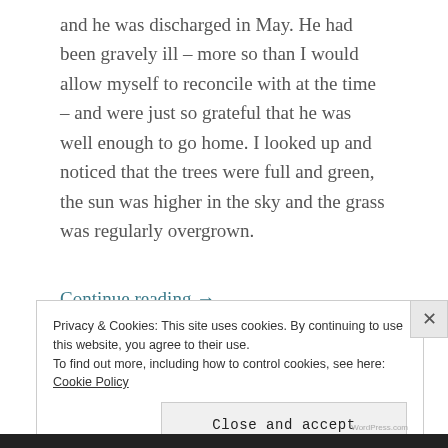and he was discharged in May. He had been gravely ill – more so than I would allow myself to reconcile with at the time – and were just so grateful that he was well enough to go home. I looked up and noticed that the trees were full and green, the sun was higher in the sky and the grass was regularly overgrown.
Continue reading →
Privacy & Cookies: This site uses cookies. By continuing to use this website, you agree to their use.
To find out more, including how to control cookies, see here: Cookie Policy
Close and accept